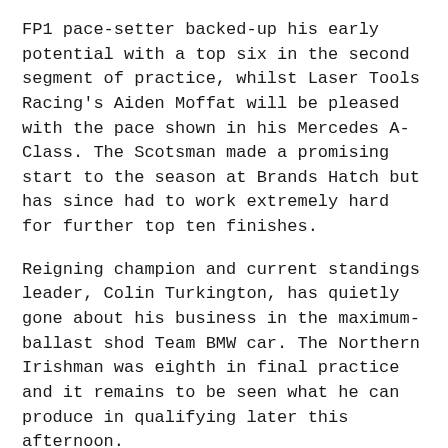FP1 pace-setter backed-up his early potential with a top six in the second segment of practice, whilst Laser Tools Racing's Aiden Moffat will be pleased with the pace shown in his Mercedes A-Class. The Scotsman made a promising start to the season at Brands Hatch but has since had to work extremely hard for further top ten finishes.
Reigning champion and current standings leader, Colin Turkington, has quietly gone about his business in the maximum-ballast shod Team BMW car. The Northern Irishman was eighth in final practice and it remains to be seen what he can produce in qualifying later this afternoon.
Ciceley man Adam Morgan and Toyota star Tom Ingram completed the top ten classification.
Qualifying for Round 13 of the 2019 Kwik Fit British Touring Car Championship will take place at 15:10 with the action being streamed live and exclusively via www.itv.com/btcc.